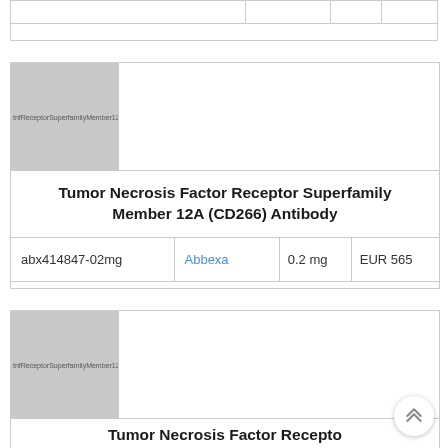|  |  |  |  |
[Figure (photo): Product image placeholder for Tumor Necrosis Factor Receptor Superfamily Member 12A (CD266) Antibody, gray box with label text]
Tumor Necrosis Factor Receptor Superfamily Member 12A (CD266) Antibody
| abx414847-02mg | Abbexa | 0.2 mg | EUR 565 |
[Figure (photo): Product image placeholder for second Tumor Necrosis Factor Receptor Superfamily Member 12A antibody product, gray box with label text]
Tumor Necrosis Factor Receptor...